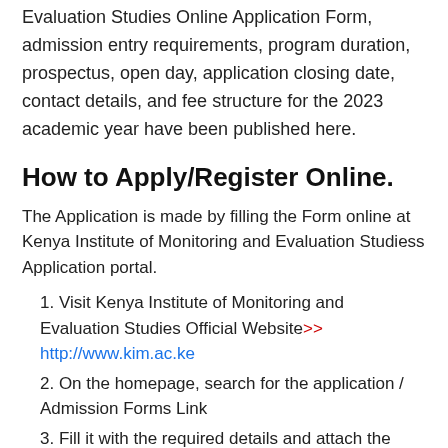Evaluation Studies Online Application Form, admission entry requirements, program duration, prospectus, open day, application closing date, contact details, and fee structure for the 2023 academic year have been published here.
How to Apply/Register Online.
The Application is made by filling the Form online at Kenya Institute of Monitoring and Evaluation Studiess Application portal.
1. Visit Kenya Institute of Monitoring and Evaluation Studies Official Website>> http://www.kim.ac.ke
2. On the homepage, search for the application / Admission Forms Link
3. Fill it with the required details and attach the scanned copies of documents to it. Select the Program Type
4.
If applying online you can submit your documents electronically.